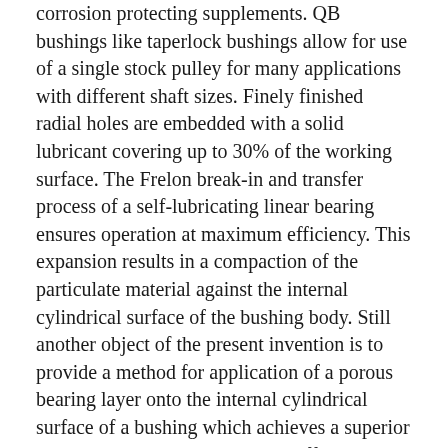corrosion protecting supplements. QB bushings like taperlock bushings allow for use of a single stock pulley for many applications with different shaft sizes. Finely finished radial holes are embedded with a solid lubricant covering up to 30% of the working surface. The Frelon break-in and transfer process of a self-lubricating linear bearing ensures operation at maximum efficiency. This expansion results in a compaction of the particulate material against the internal cylindrical surface of the bushing body. Still another object of the present invention is to provide a method for application of a porous bearing layer onto the internal cylindrical surface of a bushing which achieves a superior bearing layer quality and is cost effective. After removing the elastomeric plug from the bushing 40, the bushing together with its compacted particulate layer is placed in a suitable sintering oven 61 under conditions well known to those of ordinary skill in the art and is heated to a temperature necessary for sintering the particulate into a fused porous bearing layer 60. Preferably, the layer 60 has a thickness of about 0.010 to 0.030 inches.